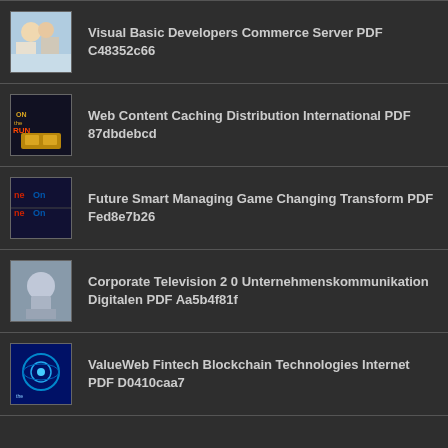Visual Basic Developers Commerce Server PDF C48352c66
Web Content Caching Distribution International PDF 87dbdebcd
Future Smart Managing Game Changing Transform PDF Fed8e7b26
Corporate Television 2 0 Unternehmenskommunikation Digitalen PDF Aa5b4f81f
ValueWeb Fintech Blockchain Technologies Internet PDF D0410caa7